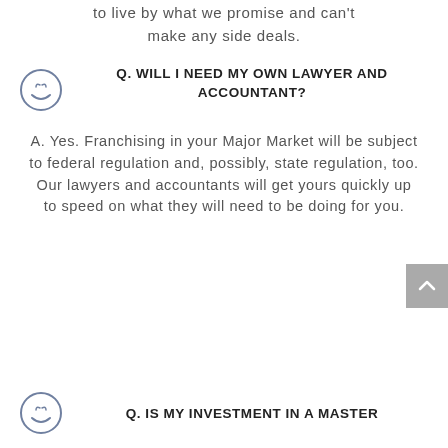to live by what we promise and can't make any side deals.
Q. WILL I NEED MY OWN LAWYER AND ACCOUNTANT?
A. Yes. Franchising in your Major Market will be subject to federal regulation and, possibly, state regulation, too. Our lawyers and accountants will get yours quickly up to speed on what they will need to be doing for you.
Q. IS MY INVESTMENT IN A MASTER